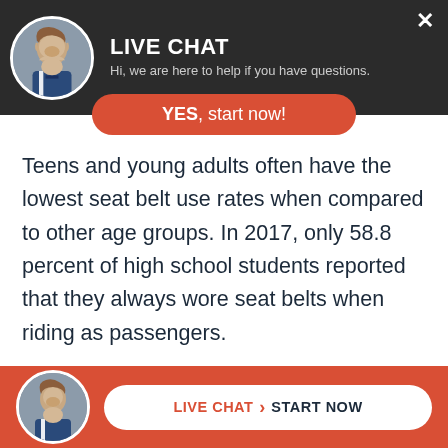[Figure (screenshot): Live chat header bar with circular avatar photo of a man in a suit, title LIVE CHAT, subtitle text, and close button X]
LIVE CHAT
Hi, we are here to help if you have questions.
YES, start now!
Teens and young adults often have the lowest seat belt use rates when compared to other age groups. In 2017, only 58.8 percent of high school students reported that they always wore seat belts when riding as passengers.
[Figure (screenshot): Footer bar with circular avatar photo and LIVE CHAT > START NOW call-to-action button on red background]